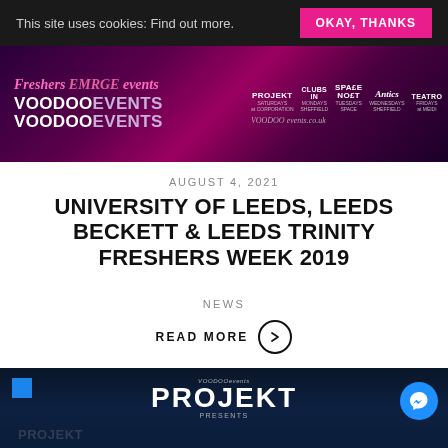This site uses cookies: Find out more. OKAY, THANKS
[Figure (illustration): Voodoo Events promotional banner showing Freshers events: Projekt, Clubs In, Space, Antics, Teatro on voodooevents.co.uk]
AUGUST 4, 2021
UNIVERSITY OF LEEDS, LEEDS BECKETT & LEEDS TRINITY FRESHERS WEEK 2019
NEWS
READ MORE
[Figure (photo): Projekt nightclub event promotional image showing dark blue lit venue with PROJEKT PRESENTS logo and Messenger icon]